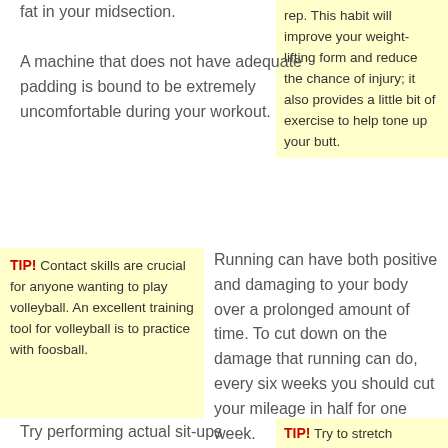fat in your midsection.
rep. This habit will improve your weight-lifting form and reduce the chance of injury; it also provides a little bit of exercise to help tone up your butt.
A machine that does not have adequate padding is bound to be extremely uncomfortable during your workout.
TIP! Contact skills are crucial for anyone wanting to play volleyball. An excellent training tool for volleyball is to practice with foosball.
Running can have both positive and damaging to your body over a prolonged amount of time. To cut down on the damage that running can do, every six weeks you should cut your mileage in half for one week.
Try performing actual sit-ups
TIP! Try to stretch